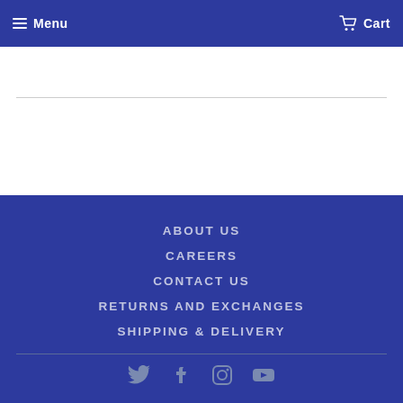Menu  Cart
ABOUT US
CAREERS
CONTACT US
RETURNS AND EXCHANGES
SHIPPING & DELIVERY
Twitter Facebook Instagram YouTube